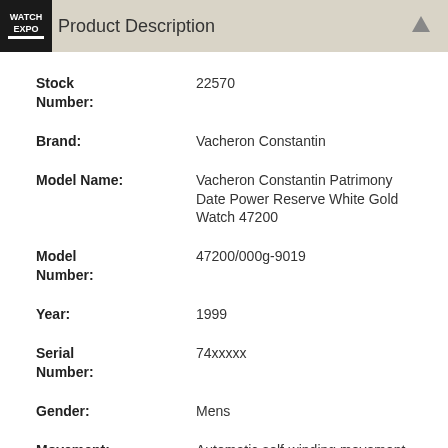WATCHEXPO Product Description
| Field | Value |
| --- | --- |
| Stock Number: | 22570 |
| Brand: | Vacheron Constantin |
| Model Name: | Vacheron Constantin Patrimony Date Power Reserve White Gold Watch 47200 |
| Model Number: | 47200/000g-9019 |
| Year: | 1999 |
| Serial Number: | 74xxxxx |
| Gender: | Mens |
| Movement: | Automatic self-winding movement. Rhodium-plated, fausses cotes decoration, straight-line lever escapement, monometallic balance adjusted to 5 positions, shock absorber, self-compensating flat balance spring. |